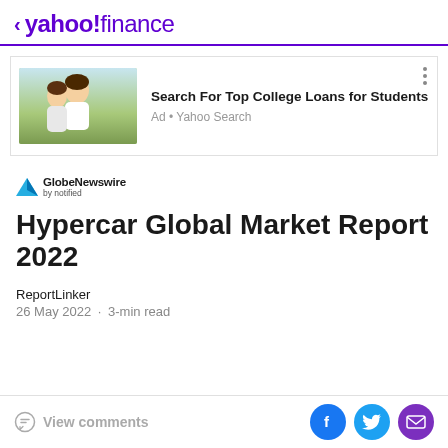< yahoo!finance
[Figure (screenshot): Advertisement banner: photo of two young people outdoors, with text 'Search For Top College Loans for Students' and 'Ad · Yahoo Search']
[Figure (logo): GlobeNewswire by notified logo]
Hypercar Global Market Report 2022
ReportLinker
26 May 2022 · 3-min read
View comments